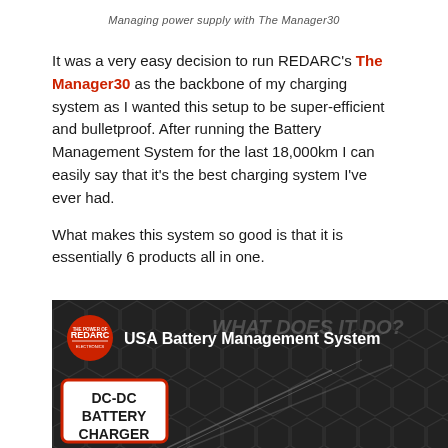Managing power supply with The Manager30
It was a very easy decision to run REDARC's The Manager30 as the backbone of my charging system as I wanted this setup to be super-efficient and bulletproof. After running the Battery Management System for the last 18,000km I can easily say that it's the best charging system I've ever had.
What makes this system so good is that it is essentially 6 products all in one.
[Figure (screenshot): REDARC USA Battery Management System product image with dark hexagon background, REDARC logo, and DC-DC Battery Charger label card. Overlaid text reads 'WHAT DOES IT DO?']